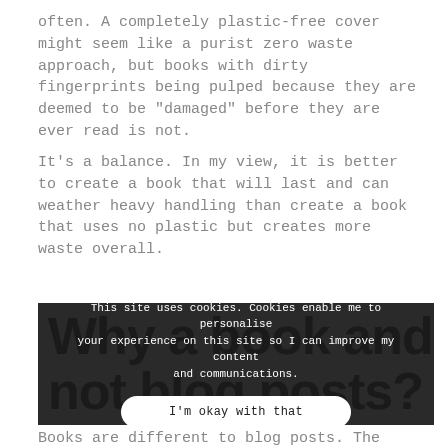often. A completely plastic-free cover might seem like a purist zero waste approach, but books with dirty fingerprints being pulped because they are deemed to be "damaged" before they are ever read is not.
It's a balance. In my view, it is better to create a book that will last and can weather heavy handling than create a book that uses no plastic but creates more waste overall.
[Figure (screenshot): Dark background section with large bold heading text 'Why a book and not blog posts?' partially visible behind a cookie consent overlay. The overlay says 'This site uses cookies. Cookies enable me to personalise your experience on this site so I can improve my content and communications.' with a button 'I'm okay with that'.]
Books are different to blog posts. The content is